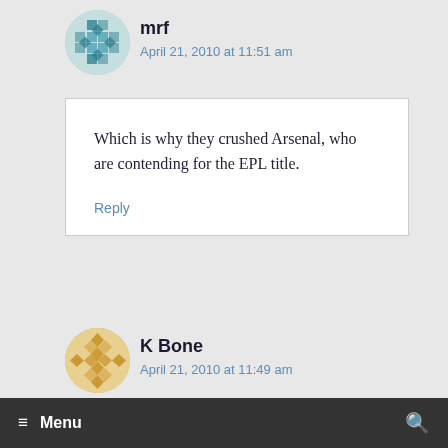[Figure (illustration): Teal/blue geometric mosaic avatar for user mrf]
mrf
April 21, 2010 at 11:51 am
Which is why they crushed Arsenal, who are contending for the EPL title.
Reply
[Figure (illustration): Gold/tan geometric diamond mosaic avatar for user K Bone]
K Bone
April 21, 2010 at 11:49 am
≡ Menu